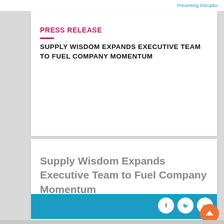Preventing Disruption
PRESS RELEASE
SUPPLY WISDOM EXPANDS EXECUTIVE TEAM TO FUEL COMPANY MOMENTUM
Supply Wisdom Expands Executive Team to Fuel Company Momentum